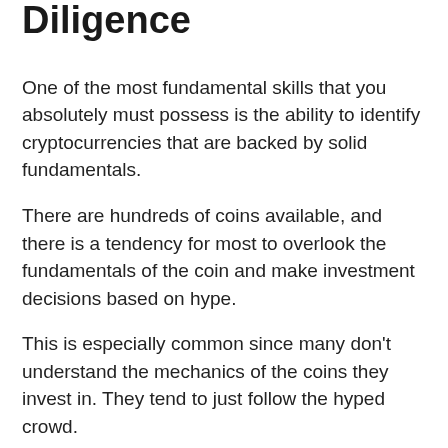Diligence
One of the most fundamental skills that you absolutely must possess is the ability to identify cryptocurrencies that are backed by solid fundamentals.
There are hundreds of coins available, and there is a tendency for most to overlook the fundamentals of the coin and make investment decisions based on hype.
This is especially common since many don't understand the mechanics of the coins they invest in. They tend to just follow the hyped crowd.
(See more: A Guide To Fundamental Analysis In The